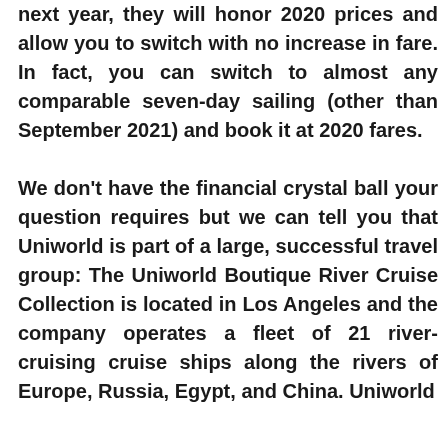next year, they will honor 2020 prices and allow you to switch with no increase in fare. In fact, you can switch to almost any comparable seven-day sailing (other than September 2021) and book it at 2020 fares.

We don't have the financial crystal ball your question requires but we can tell you that Uniworld is part of a large, successful travel group: The Uniworld Boutique River Cruise Collection is located in Los Angeles and the company operates a fleet of 21 river-cruising cruise ships along the rivers of Europe, Russia, Egypt, and China. Uniworld